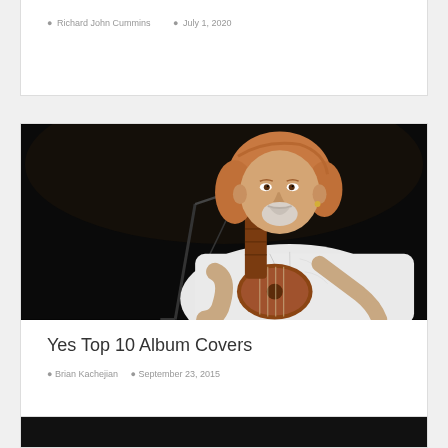Richard John Cummins   July 1, 2020
[Figure (photo): Man with reddish-gray hair and goatee playing a ukulele or small guitar in front of a microphone on a dark stage, wearing a white embroidered shirt]
Yes Top 10 Album Covers
Brian Kachejian   September 23, 2015
[Figure (photo): Partial dark image at bottom of page, appears to be another article card]